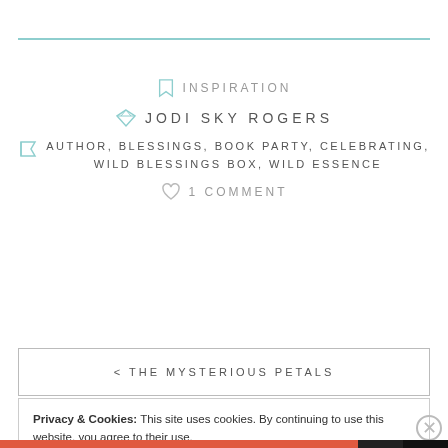INSPIRATION
JODI SKY ROGERS
AUTHOR, BLESSINGS, BOOK PARTY, CELEBRATING, WILD BLESSINGS BOX, WILD ESSENCE
1 COMMENT
< THE MYSTERIOUS PETALS
Privacy & Cookies: This site uses cookies. By continuing to use this website, you agree to their use. To find out more, including how to control cookies, see here: Cookie Policy
Close and accept